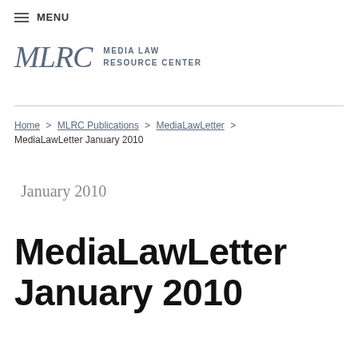≡ MENU
[Figure (logo): MLRC Media Law Resource Center logo with stylized serif letters MLRC and text MEDIA LAW RESOURCE CENTER]
Home > MLRC Publications > MediaLawLetter > MediaLawLetter January 2010
January 2010
MediaLawLetter January 2010